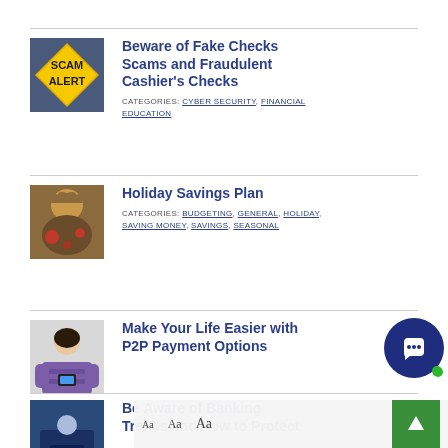[Figure (illustration): Yellow diamond-shaped SCAM ALERT warning sign on dark background]
Beware of Fake Checks Scams and Fraudulent Cashier's Checks
CATEGORIES: CYBER SECURITY, FINANCIAL EDUCATION
[Figure (photo): Holiday-themed photo with decorative elements]
Holiday Savings Plan
CATEGORIES: BUDGETING, GENERAL, HOLIDAY, SAVING MONEY, SAVINGS, SEASONAL
[Figure (photo): Woman looking at smartphone]
Make Your Life Easier with P2P Payment Options
[Figure (photo): Banking-related photo (partially visible)]
Be Aware of Banking Trends and How to Protect